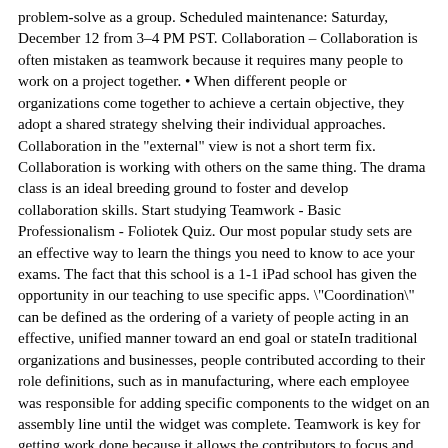problem-solve as a group. Scheduled maintenance: Saturday, December 12 from 3–4 PM PST. Collaboration – Collaboration is often mistaken as teamwork because it requires many people to work on a project together. • When different people or organizations come together to achieve a certain objective, they adopt a shared strategy shelving their individual approaches. Collaboration in the "external" view is not a short term fix. Collaboration is working with others on the same thing. The drama class is an ideal breeding ground to foster and develop collaboration skills. Start studying Teamwork - Basic Professionalism - Foliotek Quiz. Our most popular study sets are an effective way to learn the things you need to know to ace your exams. The fact that this school is a 1-1 iPad school has given the opportunity in our teaching to use specific apps. "Coordination" can be defined as the ordering of a variety of people acting in an effective, unified manner toward an end goal or stateIn traditional organizations and businesses, people contributed according to their role definitions, such as in manufacturing, where each employee was responsible for adding specific components to the widget on an assembly line until the widget was complete. Teamwork is key for getting work done because it allows the contributors to focus and specialize. Quizlet Live is an in-class game that teachers can use to help students review information while … Those collaborating work together as equals, usually without a leader, to come up with ideas or make decisions together to complete a goal